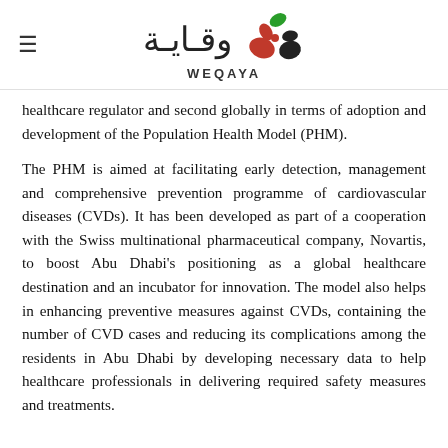WEQAYA
healthcare regulator and second globally in terms of adoption and development of the Population Health Model (PHM).
The PHM is aimed at facilitating early detection, management and comprehensive prevention programme of cardiovascular diseases (CVDs). It has been developed as part of a cooperation with the Swiss multinational pharmaceutical company, Novartis, to boost Abu Dhabi's positioning as a global healthcare destination and an incubator for innovation. The model also helps in enhancing preventive measures against CVDs, containing the number of CVD cases and reducing its complications among the residents in Abu Dhabi by developing necessary data to help healthcare professionals in delivering required safety measures and treatments.